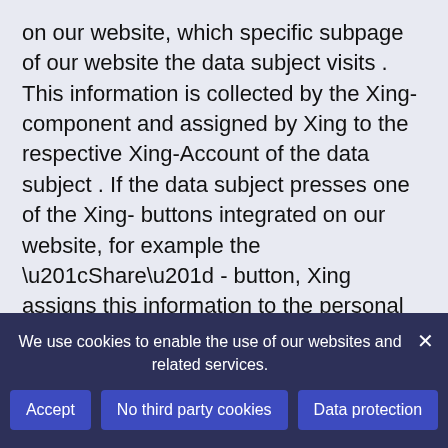on our website, which specific subpage of our website the data subject visits . This information is collected by the Xing- component and assigned by Xing to the respective Xing-Account of the data subject . If the data subject presses one of the Xing- buttons integrated on our website, for example the “Share” - button, Xing assigns this information to the personal Xing- user account of the data subject and stores this personal data .
Xing always receives information via the Xing-component that the data subject has visited our website if the data subject is logged in to Xing at the same time as accessing our website. This takes place regardless of
We use cookies to enable the use of our websites and related services.